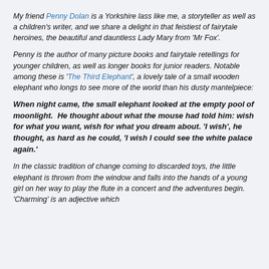My friend Penny Dolan is a Yorkshire lass like me, a storyteller as well as a children's writer, and we share a delight in that feistiest of fairytale heroines, the beautiful and dauntless Lady Mary from 'Mr Fox'.
Penny is the author of many picture books and fairytale retellings for younger children, as well as longer books for junior readers. Notable among these is 'The Third Elephant', a lovely tale of a small wooden elephant who longs to see more of the world than his dusty mantelpiece:
When night came, the small elephant looked at the empty pool of moonlight.  He thought about what the mouse had told him: wish for what you want, wish for what you dream about. 'I wish', he thought, as hard as he could, 'I wish I could see the white palace again.'
In the classic tradition of change coming to discarded toys, the little elephant is thrown from the window and falls into the hands of a young girl on her way to play the flute in a concert and the adventures begin. 'Charming' is an adjective which